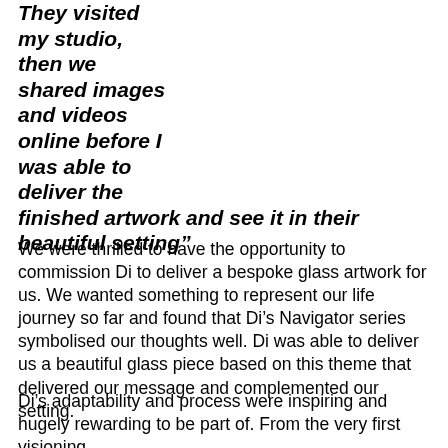They visited my studio, then we shared images and videos online before I was able to deliver the finished artwork and see it in their beautiful setting"
We were thrilled to have the opportunity to commission Di to deliver a bespoke glass artwork for us. We wanted something to represent our life journey so far and found that Di's Navigator series symbolised our thoughts well. Di was able to deliver us a beautiful glass piece based on this theme that delivered our message and complemented our setting.
Di's adaptability and process were inspiring and hugely rewarding to be part of. From the very first visioning